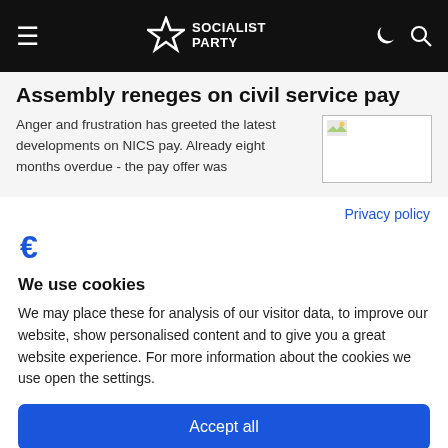Socialist Party
Assembly reneges on civil service pay
Anger and frustration has greeted the latest developments on NICS pay. Already eight months overdue - the pay offer was
Privacy policy
We use cookies
We may place these for analysis of our visitor data, to improve our website, show personalised content and to give you a great website experience. For more information about the cookies we use open the settings.
Accept all
Deny
No, adjust